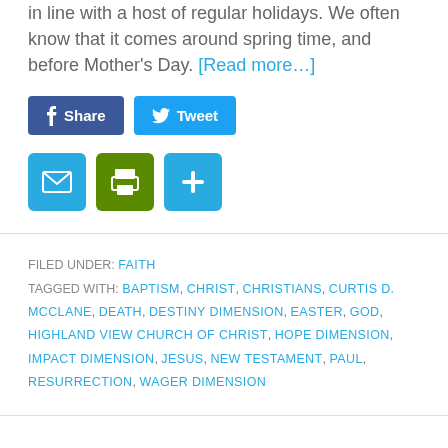in line with a host of regular holidays. We often know that it comes around spring time, and before Mother's Day. [Read more...]
Share | Tweet | (email icon) (print icon) (plus icon)
FILED UNDER: FAITH
TAGGED WITH: BAPTISM, CHRIST, CHRISTIANS, CURTIS D. MCCLANE, DEATH, DESTINY DIMENSION, EASTER, GOD, HIGHLAND VIEW CHURCH OF CHRIST, HOPE DIMENSION, IMPACT DIMENSION, JESUS, NEW TESTAMENT, PAUL, RESURRECTION, WAGER DIMENSION